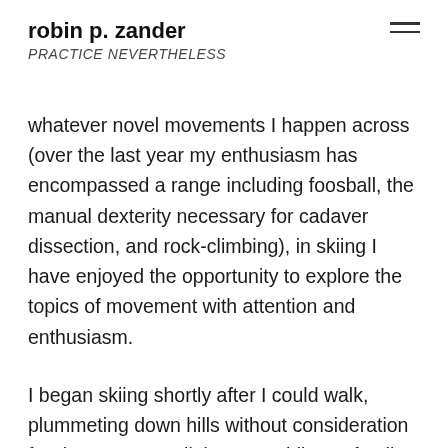robin p. zander
PRACTICE NEVERTHELESS
whatever novel movements I happen across (over the last year my enthusiasm has encompassed a range including foosball, the manual dexterity necessary for cadaver dissection, and rock-climbing), in skiing I have enjoyed the opportunity to explore the topics of movement with attention and enthusiasm.
I began skiing shortly after I could walk, plummeting down hills without consideration for danger or parallel turns. While my family